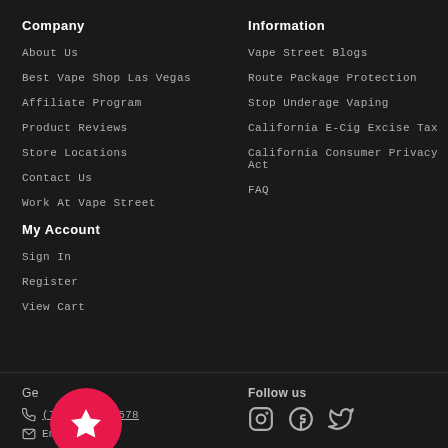Company
About Us
Best Vape Shop Las Vegas
Affiliate Program
Product Reviews
Store Locations
Contact Us
Work At Vape Street
My Account
Sign In
Register
View Cart
Information
Vape Street Blogs
Route Package Protection
Stop Underage Vaping
California E-Cig Excise Tax
California Consumer Privacy Act
FAQ
Get
(702) 209-2578
Email us
Follow us
[Figure (illustration): Red circle badge with white star icon (bookmark/favorite button)]
[Figure (illustration): Social media icons: Instagram, Facebook, Twitter]